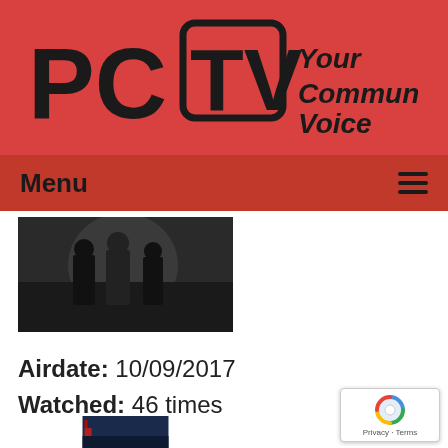[Figure (logo): PCTV logo with stylized letters PC and TV in a box, with tagline 'Your Community Voice' on red background]
Menu ☰
[Figure (photo): Thumbnail photo of people standing in a meeting room, appears to be a government meeting]
The Village Board Meeting of 10-09-17
Airdate: 10/09/2017
Watched: 46 times
[Figure (photo): Thumbnail of village board meeting video, showing people seated at a table with American flag visible]